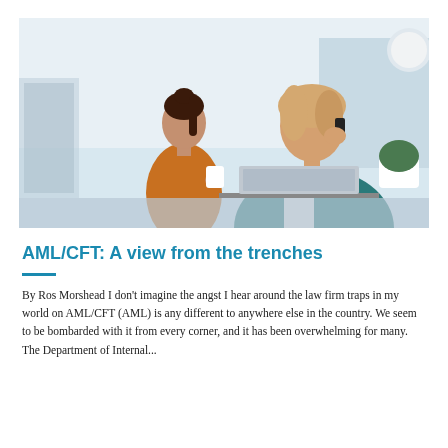[Figure (photo): Office scene with a blonde woman in foreground talking on a mobile phone while working on a laptop, and another woman in an orange top standing in the background.]
AML/CFT: A view from the trenches
By Ros Morshead I don't imagine the angst I hear around the law firm traps in my world on AML/CFT (AML) is any different to anywhere else in the country. We seem to be bombarded with it from every corner, and it has been overwhelming for many. The Department of Internal...